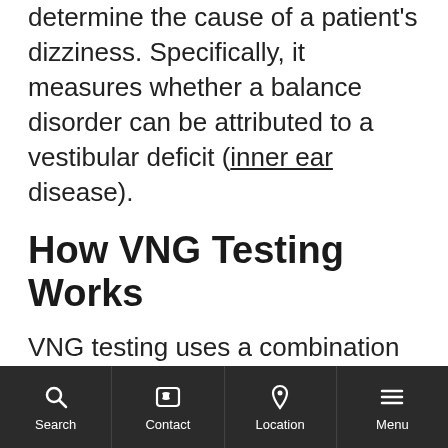determine the cause of a patient's dizziness. Specifically, it measures whether a balance disorder can be attributed to a vestibular deficit (inner ear disease).
How VNG Testing Works
VNG testing uses a combination of video goggles and infrared cameras to measure involuntary eye movements, called nystagmus. Neural connections extend from the balance mechanism in the inner ear to the muscles of the eye. Rapid eye movements, which can only be captured using high-tech
Search  Contact  Location  Menu